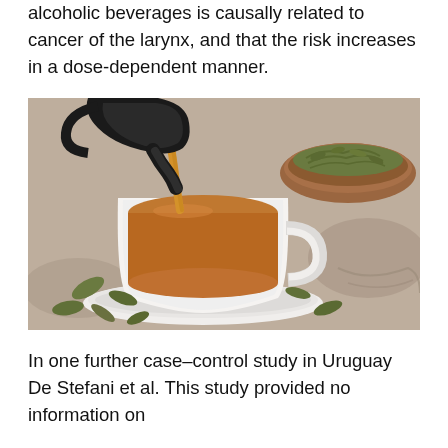alcoholic beverages is causally related to cancer of the larynx, and that the risk increases in a dose-dependent manner.
[Figure (photo): A photograph showing tea being poured from a black teapot into a white decorative cup on a saucer, with dried green tea leaves in a brown bowl in the background, set on a stone surface with scattered tea leaves.]
In one further case–control study in Uruguay De Stefani et al. This study provided no information on